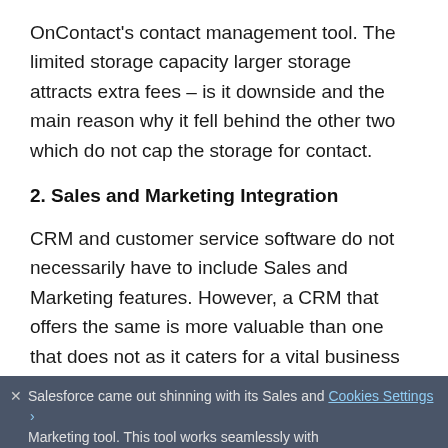OnContact's contact management tool. The limited storage capacity larger storage attracts extra fees – is it downside and the main reason why it fell behind the other two which do not cap the storage for contact.
2. Sales and Marketing Integration
CRM and customer service software do not necessarily have to include Sales and Marketing features. However, a CRM that offers the same is more valuable than one that does not as it caters for a vital business process. All three CRMs featured Sales and Marketing tools with varied capabilities.
Salesforce came out shinning with its Sales and Marketing tool. This tool works seamlessly with